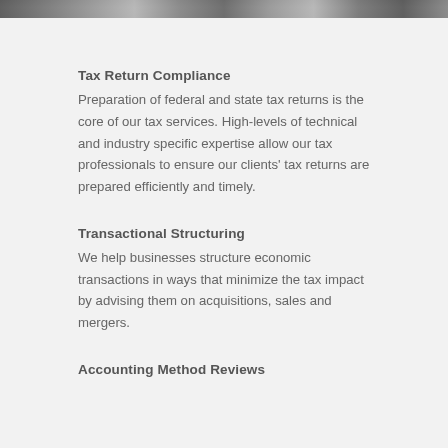[Figure (photo): Partial photo strip at top of page showing people, cropped]
Tax Return Compliance
Preparation of federal and state tax returns is the core of our tax services. High-levels of technical and industry specific expertise allow our tax professionals to ensure our clients’ tax returns are prepared efficiently and timely.
Transactional Structuring
We help businesses structure economic transactions in ways that minimize the tax impact by advising them on acquisitions, sales and mergers.
Accounting Method Reviews